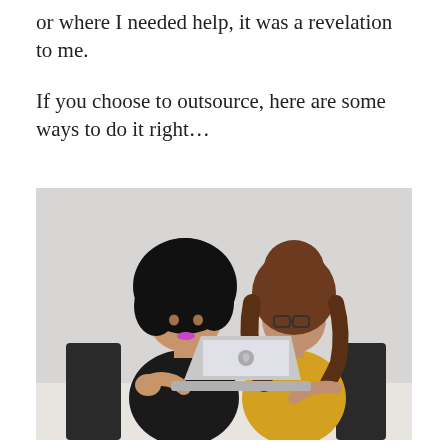or where I needed help, it was a revelation to me.
If you choose to outsource, here are some ways to do it right…
[Figure (photo): Two women sitting at a table looking at an open Apple MacBook laptop. The woman on the left has large curly black hair, wearing a black top, resting her chin on her hand. The woman on the right has long wavy brown hair, wearing glasses and a yellow jacket. They appear to be collaborating or reviewing something on the screen. The background is a plain light grey wall.]